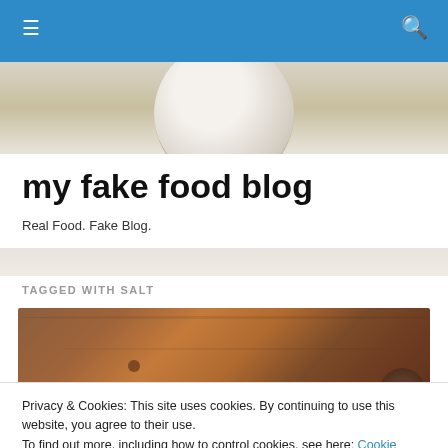my fake food blog — navigation bar with hamburger menu and search icon
[Figure (photo): Hero image showing top of a bowl/plate on a beige/cream background]
my fake food blog
Real Food. Fake Blog.
TAGGED WITH SALT
[Figure (photo): Overhead photo of a wooden table surface with dark knots and a dark round object (possibly an eggplant) in the corner]
Privacy & Cookies: This site uses cookies. By continuing to use this website, you agree to their use.
To find out more, including how to control cookies, see here: Cookie Policy
Close and accept